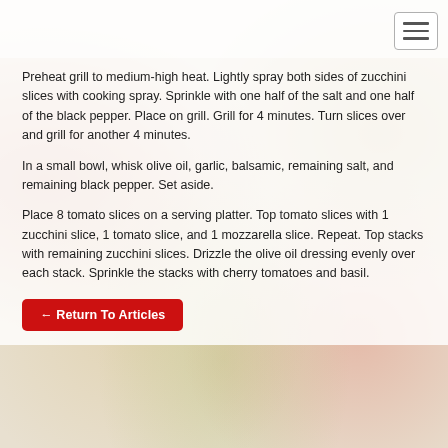Navigation menu button (hamburger icon)
Preheat grill to medium-high heat. Lightly spray both sides of zucchini slices with cooking spray. Sprinkle with one half of the salt and one half of the black pepper. Place on grill. Grill for 4 minutes. Turn slices over and grill for another 4 minutes.
In a small bowl, whisk olive oil, garlic, balsamic, remaining salt, and remaining black pepper. Set aside.
Place 8 tomato slices on a serving platter. Top tomato slices with 1 zucchini slice, 1 tomato slice, and 1 mozzarella slice. Repeat. Top stacks with remaining zucchini slices. Drizzle the olive oil dressing evenly over each stack. Sprinkle the stacks with cherry tomatoes and basil.
← Return To Articles